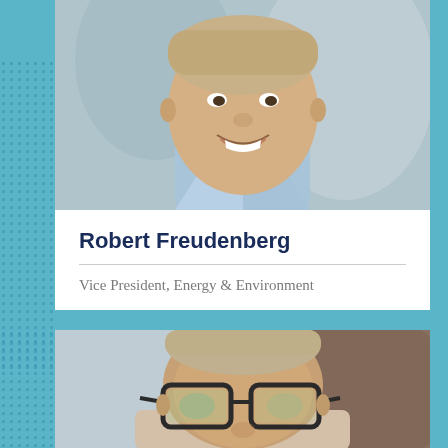[Figure (photo): Headshot photo of a smiling young man in a light blue shirt, cropped to show face and upper chest, against a blurred background]
Robert Freudenberg
Vice President, Energy & Environment
[Figure (photo): Headshot photo of a man wearing dark-framed glasses, cropped to show face, against a blurred background]